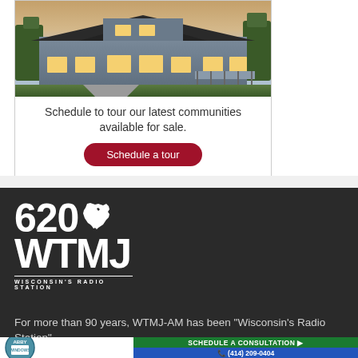[Figure (photo): Large two-story luxury home with stone exterior, lit windows at dusk, green lawn in foreground]
Schedule to tour our latest communities available for sale.
Schedule a tour
[Figure (logo): 620 WTMJ Wisconsin's Radio Station logo in white on dark background]
For more than 90 years, WTMJ-AM has been "Wisconsin's Radio Station"
[Figure (infographic): Bottom banner ads: Abby logo on left, SCHEDULE A CONSULTATION and phone number (414) 209-0404 on right]